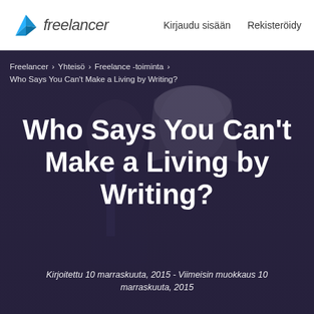freelancer  Kirjaudu sisään  Rekisteröidy
Freelancer › Yhteisö › Freelance -toiminta › Who Says You Can't Make a Living by Writing?
Who Says You Can't Make a Living by Writing?
Kirjoitettu 10 marraskuuta, 2015 - Viimeisin muokkaus 10 marraskuuta, 2015